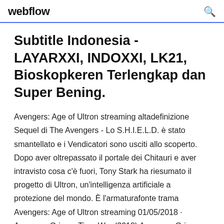webflow
Subtitle Indonesia - LAYARXXI, INDOXXI, LK21, Bioskopkeren Terlengkap dan Super Bening.
Avengers: Age of Ultron streaming altadefinizione Sequel di The Avengers - Lo S.H.I.E.L.D. è stato smantellato e i Vendicatori sono usciti allo scoperto. Dopo aver oltrepassato il portale dei Chitauri e aver intravisto cosa c'è fuori, Tony Stark ha riesumato il progetto di Ultron, un'intelligenza artificiale a protezione del mondo. È l'armaturafonte trama Avengers: Age of Ultron streaming 01/05/2018 · Avengers Grimm: Time War (2018) Avengers Grimm: Time War (2018)